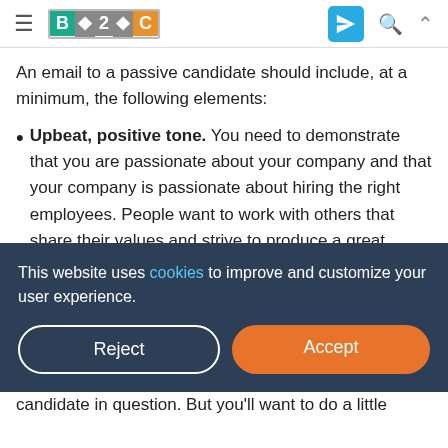B2C [logo/nav bar]
An email to a passive candidate should include, at a minimum, the following elements:
Upbeat, positive tone. You need to demonstrate that you are passionate about your company and that your company is passionate about hiring the right employees. People want to work with others that share their values and strive to produce a great product or service. The tone of your email shouldn't feel like a
This website uses cookies to improve and customize your user experience.
candidate in question. But you'll want to do a little